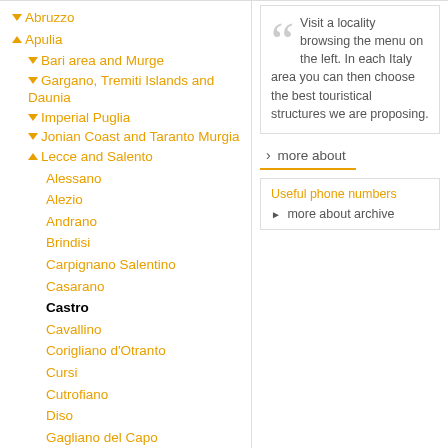▼ Abruzzo
▲ Apulia
▼ Bari area and Murge
▼ Gargano, Tremiti Islands and Daunia
▼ Imperial Puglia
▼ Jonian Coast and Taranto Murgia
▲ Lecce and Salento
Alessano
Alezio
Andrano
Brindisi
Carpignano Salentino
Casarano
Castro
Cavallino
Corigliano d'Otranto
Cursi
Cutrofiano
Diso
Gagliano del Capo
Galatina
Gallipoli
Giurdignano
Visit a locality browsing the menu on the left. In each Italy area you can then choose the best touristical structures we are proposing.
› more about
Useful phone numbers
▶ more about archive